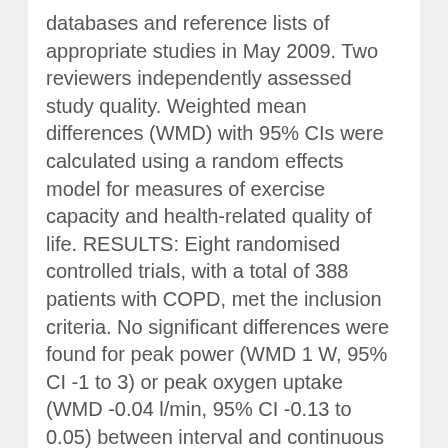databases and reference lists of appropriate studies in May 2009. Two reviewers independently assessed study quality. Weighted mean differences (WMD) with 95% CIs were calculated using a random effects model for measures of exercise capacity and health-related quality of life. RESULTS: Eight randomised controlled trials, with a total of 388 patients with COPD, met the inclusion criteria. No significant differences were found for peak power (WMD 1 W, 95% CI -1 to 3) or peak oxygen uptake (WMD -0.04 l/min, 95% CI -0.13 to 0.05) between interval and continuous training. The WMD for the Chronic Respiratory Questionnaire dyspnoea score was -0.2 units (95% CI -0.5 to 0.0). There was no difference in 6MWT distance between groups (WMD 4 m, 95% CI -15 to 23). CONCLUSIONS: Interval and continuous training modalities did not differ in their effect on measures of exercise capacity or health-